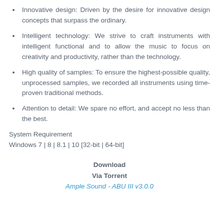Innovative design: Driven by the desire for innovative design concepts that surpass the ordinary.
Intelligent technology: We strive to craft instruments with intelligent functional and to allow the music to focus on creativity and productivity, rather than the technology.
High quality of samples: To ensure the highest-possible quality, unprocessed samples, we recorded all instruments using time-proven traditional methods.
Attention to detail: We spare no effort, and accept no less than the best.
System Requirement
Windows 7 | 8 | 8.1 | 10 [32-bit | 64-bit]
Download
Via Torrent
Ample Sound - ABU III v3.0.0